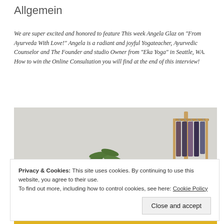Allgemein
We are super excited and honored to feature This week Angela Glaz on "From Ayurveda With Love!" Angela is a radiant and joyful Yogateacher, Ayurvedic Counselor and The Founder and studio Owner from "Eka Yoga" in Seattle, WA. How to win the Online Consultation you will find at the end of this interview!
[Figure (photo): Photo of a woman standing near a large plant and clothing rack in a studio/shop setting, with yellow-toned clothing visible at the bottom]
Privacy & Cookies: This site uses cookies. By continuing to use this website, you agree to their use.
To find out more, including how to control cookies, see here: Cookie Policy
Close and accept